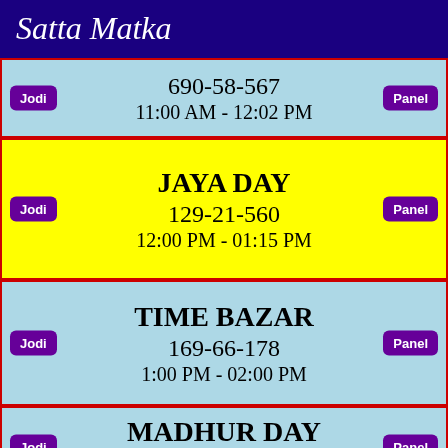Satta Matka
690-58-567
11:00 AM - 12:02 PM
JAYA DAY
129-21-560
12:00 PM - 01:15 PM
TIME BAZAR
169-66-178
1:00 PM - 02:00 PM
MADHUR DAY
345-24-266